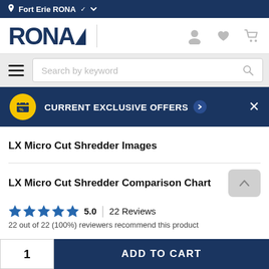Fort Erie RONA
[Figure (logo): RONA logo with user, heart, and cart icons]
[Figure (screenshot): Search bar with hamburger menu and search by keyword field]
[Figure (infographic): Current Exclusive Offers banner with yellow icon and X close button]
LX Micro Cut Shredder Images
LX Micro Cut Shredder Comparison Chart
5.0   22 Reviews
22 out of 22 (100%) reviewers recommend this product
1   ADD TO CART